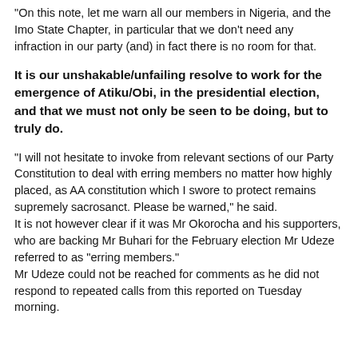“On this note, let me warn all our members in Nigeria, and the Imo State Chapter, in particular that we don’t need any infraction in our party (and) in fact there is no room for that.
It is our unshakable/unfailing resolve to work for the emergence of Atiku/Obi, in the presidential election, and that we must not only be seen to be doing, but to truly do.
“I will not hesitate to invoke from relevant sections of our Party Constitution to deal with erring members no matter how highly placed, as AA constitution which I swore to protect remains supremely sacrosanct. Please be warned,” he said.
It is not however clear if it was Mr Okorocha and his supporters, who are backing Mr Buhari for the February election Mr Udeze referred to as “erring members.”
Mr Udeze could not be reached for comments as he did not respond to repeated calls from this reported on Tuesday morning.